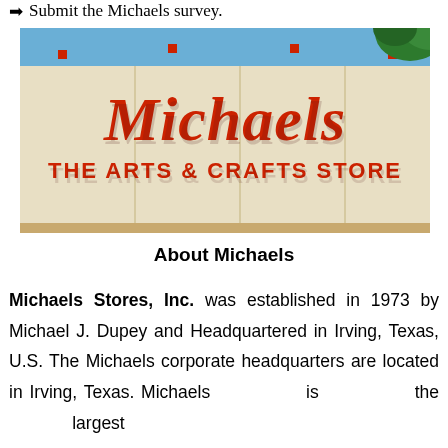→ Submit the Michaels survey.
[Figure (photo): Exterior photo of a Michaels store showing the storefront sign reading 'Michaels THE ARTS & CRAFTS STORE' in large red letters on a beige/cream building facade with a blue stripe along the top. Green foliage visible in the upper right corner.]
About Michaels
Michaels Stores, Inc. was established in 1973 by Michael J. Dupey and Headquartered in Irving, Texas, U.S. The Michaels corporate headquarters are located in Irving, Texas. Michaels is the largest